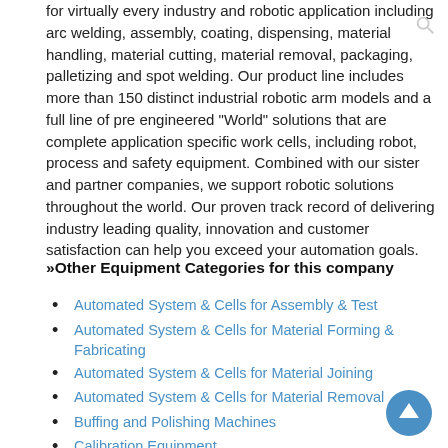for virtually every industry and robotic application including arc welding, assembly, coating, dispensing, material handling, material cutting, material removal, packaging, palletizing and spot welding. Our product line includes more than 150 distinct industrial robotic arm models and a full line of pre engineered "World" solutions that are complete application specific work cells, including robot, process and safety equipment. Combined with our sister and partner companies, we support robotic solutions throughout the world. Our proven track record of delivering industry leading quality, innovation and customer satisfaction can help you exceed your automation goals.
»Other Equipment Categories for this company
Automated System & Cells for Assembly & Test
Automated System & Cells for Material Forming & Fabricating
Automated System & Cells for Material Joining
Automated System & Cells for Material Removal
Buffing and Polishing Machines
Calibration Equipment
Coating Equipment
Deburring Equipment